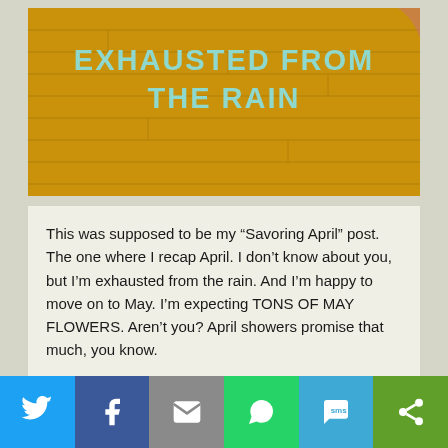[Figure (illustration): Yellow/golden wooden plank wall background with text 'EXHAUSTED FROM THE RAIN' overlaid in large teal/mint uppercase letters. A person's arm is barely visible in the top right corner.]
This was supposed to be my “Savoring April” post. The one where I recap April. I don’t know about you, but I’m exhausted from the rain. And I’m happy to move on to May. I’m expecting TONS OF MAY FLOWERS. Aren’t you? April showers promise that much, you know.
[Figure (infographic): Social sharing bar with 6 buttons: Twitter (blue), Facebook (dark blue), Email (gray), WhatsApp (green), SMS (light blue), More/share (dark green). Each has a white icon.]